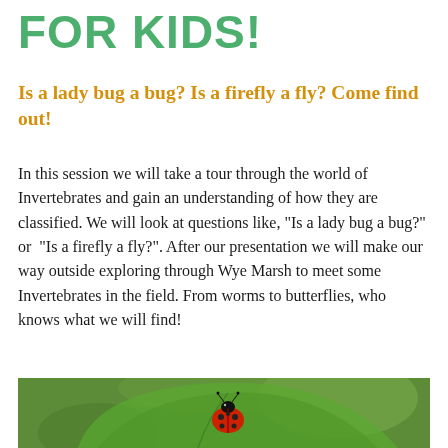FOR KIDS!
Is a lady bug a bug? Is a firefly a fly? Come find out!
In this session we will take a tour through the world of Invertebrates and gain an understanding of how they are classified. We will look at questions like, "Is a lady bug a bug?" or  "Is a firefly a fly?". After our presentation we will make our way outside exploring through Wye Marsh to meet some Invertebrates in the field. From worms to butterflies, who knows what we will find!
[Figure (photo): Close-up photo of a red ladybug with black spots sitting on a green leaf, with a blurred green background.]